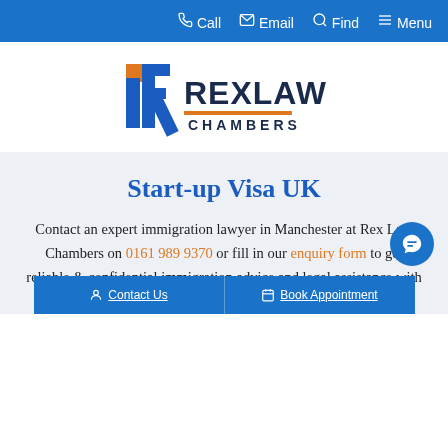Call  Email  Find  Menu
[Figure (logo): Rex Law Chambers logo with stylized R and L letters in blue and orange, company name in dark navy and orange text]
Start-up Visa UK
Contact an expert immigration lawyer in Manchester at Rex Law Chambers on 0161 989 9370 or fill in our enquiry form to get reliable & confidential immigration advice and legal assistance with a UK visa application or any other immigration matter.
Contact Us   Book Appointment